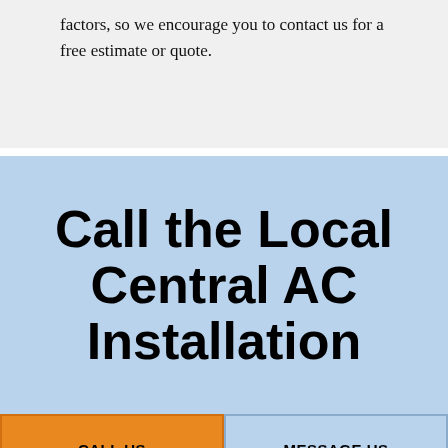factors, so we encourage you to contact us for a free estimate or quote.
Call the Local Central AC Installation
CALL US
MESSAGE US